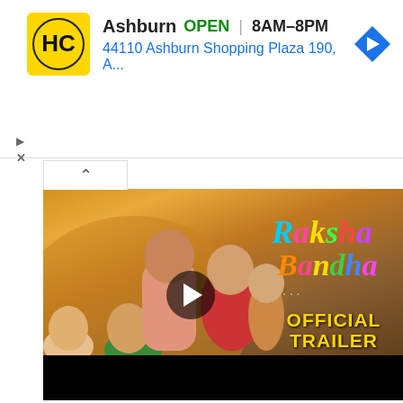[Figure (screenshot): Advertisement banner for HC (Halal Cart or similar) store in Ashburn showing OPEN status, hours 8AM-8PM, address 44110 Ashburn Shopping Plaza 190, A... with HC logo and navigation arrow icon]
Ashburn  OPEN  |  8AM–8PM
44110 Ashburn Shopping Plaza 190, A...
[Figure (screenshot): Video thumbnail for Raksha Bandhan Official Trailer showing a family group hug scene with a man and several smiling women/girls, colorful movie title text 'Raksha Bandhan...' in multicolor and 'OFFICIAL TRAILER' in yellow bold text on right side, play button in center, dark/golden background]